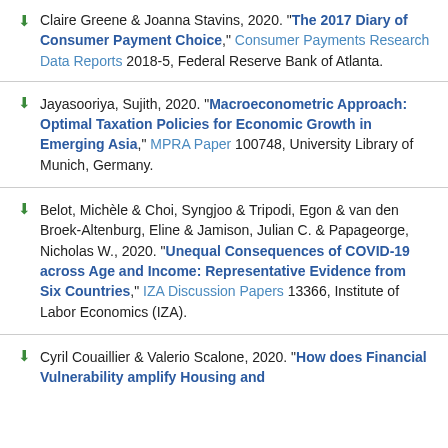Claire Greene & Joanna Stavins, 2020. "The 2017 Diary of Consumer Payment Choice," Consumer Payments Research Data Reports 2018-5, Federal Reserve Bank of Atlanta.
Jayasooriya, Sujith, 2020. "Macroeconometric Approach: Optimal Taxation Policies for Economic Growth in Emerging Asia," MPRA Paper 100748, University Library of Munich, Germany.
Belot, Michèle & Choi, Syngjoo & Tripodi, Egon & van den Broek-Altenburg, Eline & Jamison, Julian C. & Papageorge, Nicholas W., 2020. "Unequal Consequences of COVID-19 across Age and Income: Representative Evidence from Six Countries," IZA Discussion Papers 13366, Institute of Labor Economics (IZA).
Cyril Couaillier & Valerio Scalone, 2020. "How does Financial Vulnerability amplify Housing and...